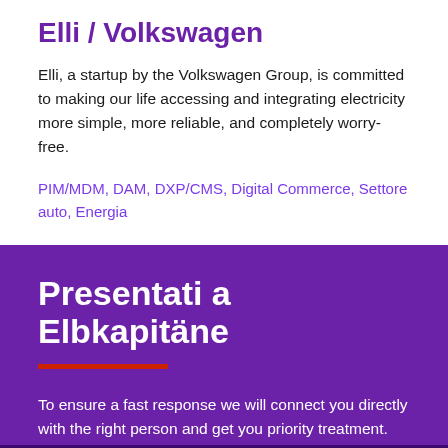Elli / Volkswagen
Elli, a startup by the Volkswagen Group, is committed to making our life accessing and integrating electricity more simple, more reliable, and completely worry-free.
PIM/MDM, DAM, DXP/CMS, Digital Commerce, Settore auto, Energia
Presentati a Elbkapitäne
To ensure a fast response we will connect you directly with the right person and get you priority treatment.